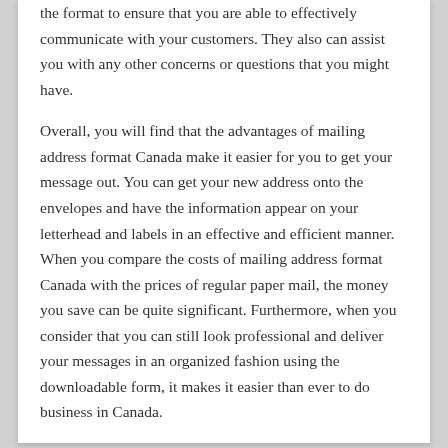the format to ensure that you are able to effectively communicate with your customers. They also can assist you with any other concerns or questions that you might have.
Overall, you will find that the advantages of mailing address format Canada make it easier for you to get your message out. You can get your new address onto the envelopes and have the information appear on your letterhead and labels in an effective and efficient manner. When you compare the costs of mailing address format Canada with the prices of regular paper mail, the money you save can be quite significant. Furthermore, when you consider that you can still look professional and deliver your messages in an organized fashion using the downloadable form, it makes it easier than ever to do business in Canada.
Options Are Available For